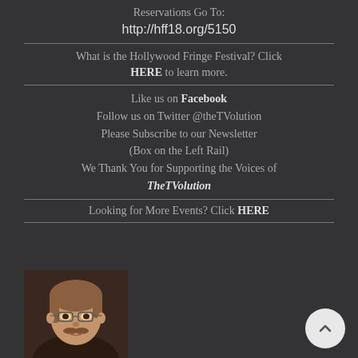Reservations Go To:
http://hff18.org/5150
What is the Hollywood Fringe Festival? Click HERE to learn more.
Like us on Facebook
Follow us on Twitter @theTVolution
Please Subscribe to our Newsletter
(Box on the Left Rail)
We Thank You for Supporting the Voices of TheTVolution
Looking for More Events? Click HERE
[Figure (photo): Headshot photo of a man with glasses and a mustache, with medium-length hair, dark background]